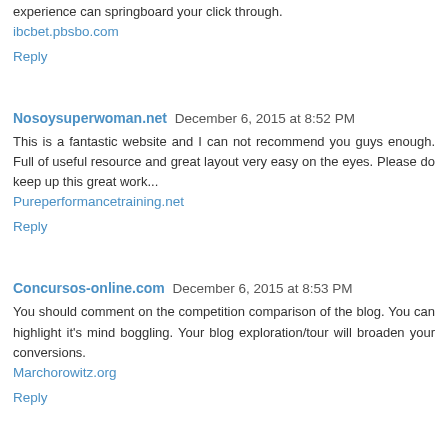experience can springboard your click through. ibcbet.pbsbo.com
Reply
Nosoysuperwoman.net December 6, 2015 at 8:52 PM
This is a fantastic website and I can not recommend you guys enough. Full of useful resource and great layout very easy on the eyes. Please do keep up this great work... Pureperformancetraining.net
Reply
Concursos-online.com December 6, 2015 at 8:53 PM
You should comment on the competition comparison of the blog. You can highlight it's mind boggling. Your blog exploration/tour will broaden your conversions. Marchorowitz.org
Reply